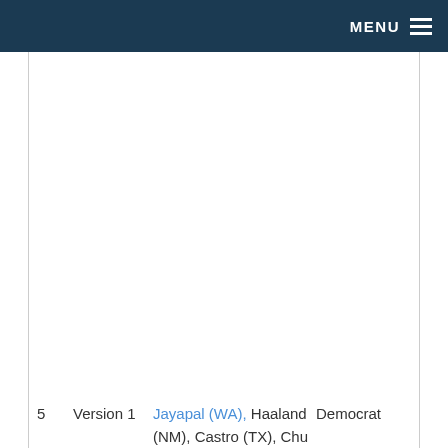MENU
|  | Version | Sponsors | Party |
| --- | --- | --- | --- |
| 5 | Version 1 | Jayapal (WA), Haaland (NM), Castro (TX), Chu | Democrat |